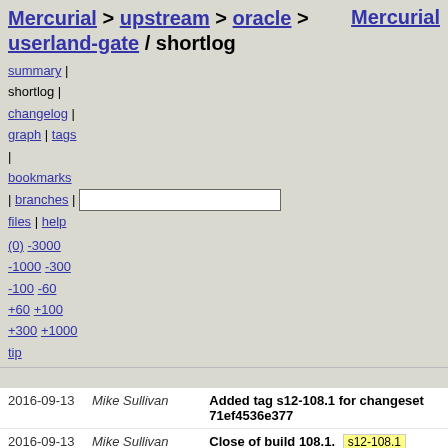Mercurial > upstream > oracle > userland-gate / shortlog    Mercurial
summary | shortlog | changelog | graph | tags | bookmarks | branches | files | help
(0) -3000 -1000 -300 -100 -60 +60 +100 +300 +1000 tip
| Date | Author | Description |
| --- | --- | --- |
| 2016-09-13 | Mike Sullivan | Added tag s12-108.1 for changeset 71ef4536e377 |
| 2016-09-13 | Mike Sullivan | Close of build 108.1.  s12-108.1 |
| 2016-09-13 | John Beck | 24661908 gnome-system-monitor needs tweak to stay on FOSS eval do-not-publish list |
| 2016-09-13 | Alan Coopersmith | 24656373 gtk2 programs crash when using non-default themes from gtk-engines |
| 2016-09-13 | Rich Burridge | 24653463 Remove 32-bit |